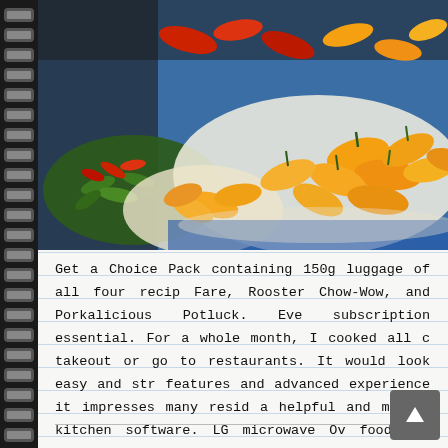[Figure (photo): Close-up photo of colorful chili peppers at a market — orange/yellow habanero-type peppers in paper baskets on the right, red and green peppers on the left, blue cloth underneath.]
Get a Choice Pack containing 150g luggage of all four recip Fare, Rooster Chow-Wow, and Porkalicious Potluck. Eve subscription essential. For a whole month, I cooked all c takeout or go to restaurants. It would look easy and str features and advanced experience it impresses many resid a helpful and modern kitchen software. LG microwave Ov food and prepare dinner in abundance in only ...